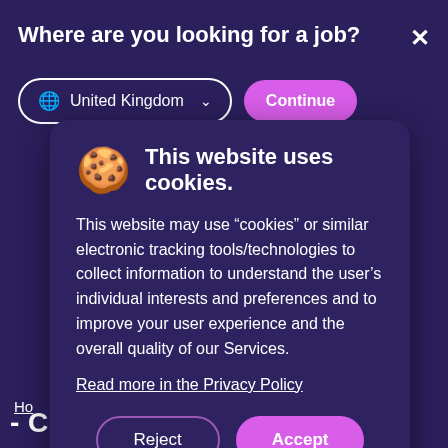Where are you looking for a job?
[Figure (screenshot): Dropdown selector showing 'United Kingdom' with globe icon and chevron, and a pink 'Continue' button]
This website uses cookies.
This website may use "cookies" or similar electronic tracking tools/technologies to collect information to understand the user's individual interests and preferences and to improve your user experience and the overall quality of our Services.
Read more in the Privacy Policy
[Figure (screenshot): Two buttons: 'Reject' (outlined) and 'Accept' (filled pink/purple)]
- Chippenham
per hour